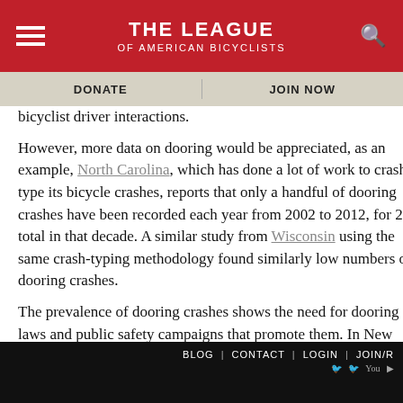THE LEAGUE OF AMERICAN BICYCLISTS
DONATE | JOIN NOW
bicyclist driver interactions.
However, more data on dooring would be appreciated, as an example, North Carolina, which has done a lot of work to crash-type its bicycle crashes, reports that only a handful of dooring crashes have been recorded each year from 2002 to 2012, for 20 total in that decade. A similar study from Wisconsin using the same crash-typing methodology found similarly low numbers of dooring crashes.
The prevalence of dooring crashes shows the need for dooring laws and public safety campaigns that promote them. In New York City, the LOOK! Campaign has served to remind people in vehicles to look before exiting, especially before opening cab doors. Chicago has adopted a similar campaign and recently
BLOG | CONTACT | LOGIN | JOIN/R